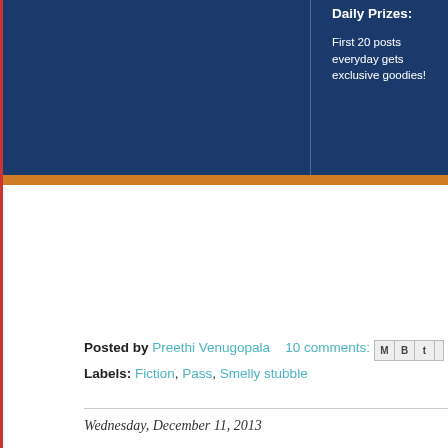[Figure (screenshot): Partial view of a blog contest banner with dark blue background and orange strip at bottom. Shows 'Daily Prizes:' and 'Weekly Prizes:' sections with text about Flipkart vouchers.]
Posted by Preethi Venugopala   10 comments:
Labels: Fiction, Pass, Smelly stubble
Wednesday, December 11, 2013
A Sparkling Christmas!!
[Figure (photo): Partial bottom-right corner photo, appears to show a warm-lit indoor scene.]